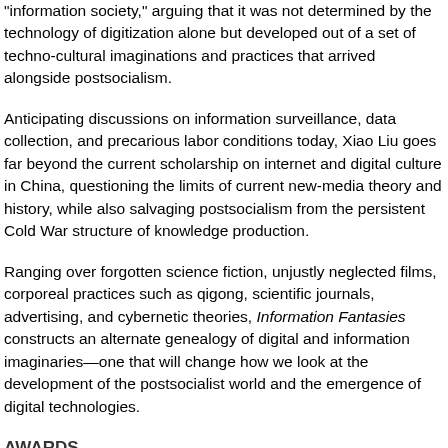“information society,” arguing that it was not determined by the technology of digitization alone but developed out of a set of techno-cultural imaginations and practices that arrived alongside postsocialism.
Anticipating discussions on information surveillance, data collection, and precarious labor conditions today, Xiao Liu goes far beyond the current scholarship on internet and digital culture in China, questioning the limits of current new-media theory and history, while also salvaging postsocialism from the persistent Cold War structure of knowledge production.
Ranging over forgotten science fiction, unjustly neglected films, corporeal practices such as qigong, scientific journals, advertising, and cybernetic theories, Information Fantasies constructs an alternate genealogy of digital and information imaginaries—one that will change how we look at the development of the postsocialist world and the emergence of digital technologies.
AWARDS
Winner of the Science Fiction Research Association Book Award